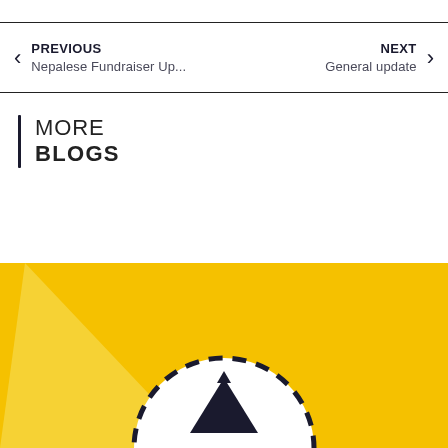PREVIOUS
Nepalese Fundraiser Up...
NEXT
General update
MORE
BLOGS
[Figure (illustration): Yellow background with a compass/navigation icon — a circular dial with dashed border and an upward triangle arrow in the center, on a yellow and light yellow diagonal background]